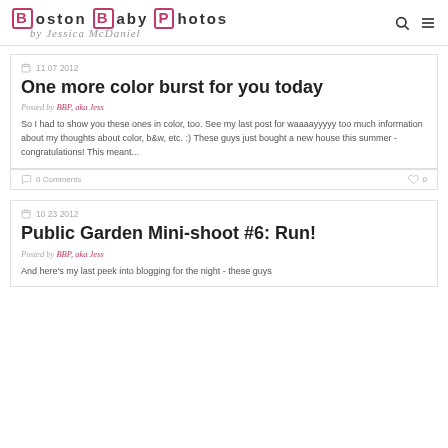Boston Baby Photos by Jessica McDaniel
11 07 2012
One more color burst for you today
Posted by BBP, aka Jess
So I had to show you these ones in color, too. See my last post for waaaayyyyy too much information about my thoughts about color, b&w, etc. :) These guys just bought a new house this summer - congratulations! This meant...
0 Comments   0
10 23 2012
Public Garden Mini-shoot #6: Run!
Posted by BBP, aka Jess
And here's my last peek into blogging for the night - these guys